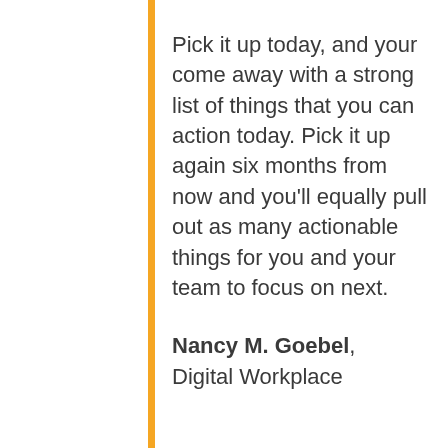Pick it up today, and your come away with a strong list of things that you can action today. Pick it up again six months from now and you'll equally pull out as many actionable things for you and your team to focus on next.
Nancy M. Goebel, Digital Workplace